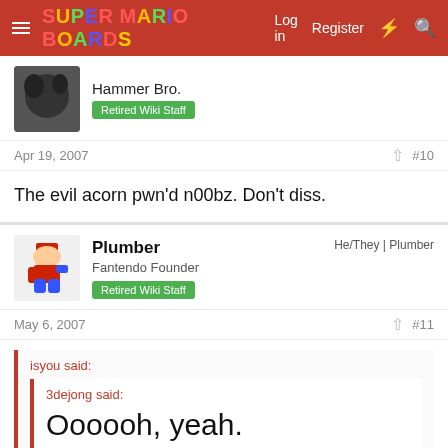Super Mario Boards — Log in | Register
Hammer Bro. — Retired Wiki Staff
Apr 19, 2007   #10
The evil acorn pwn'd n00bz. Don't diss.
Plumber — He/They | Plumber — Fantendo Founder — Retired Wiki Staff
May 6, 2007   #11
isyou said:
3dejong said:
Oooooh, yeah.